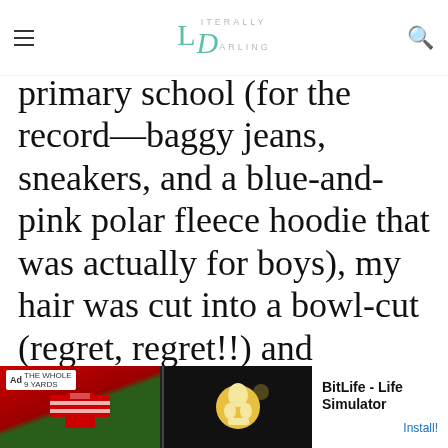Literally Darling
primary school (for the record—baggy jeans, sneakers, and a blue-and-pink polar fleece hoodie that was actually for boys), my hair was cut into a bowl-cut (regret, regret!!) and looking back at photos of
e. But that
t care
by my
Our site uses cookies. Learn more about our use of cookies: cookie policy
I ACCEPT USE OF COOKIES
[Figure (screenshot): Ad banner for BitLife - Life Simulator with install button]